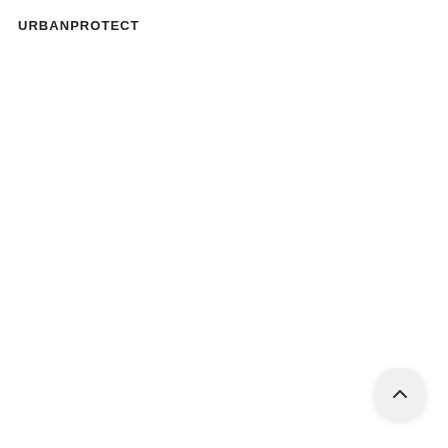URBANPROTECT
[Figure (other): Scroll-to-top button with upward chevron arrow in bottom-right corner]